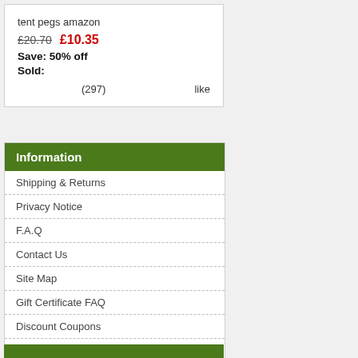tent pegs amazon
£20.70  £10.35
Save: 50% off
Sold:
(297)  like
Information
Shipping & Returns
Privacy Notice
F.A.Q
Contact Us
Site Map
Gift Certificate FAQ
Discount Coupons
Newsletter Unsubscribe